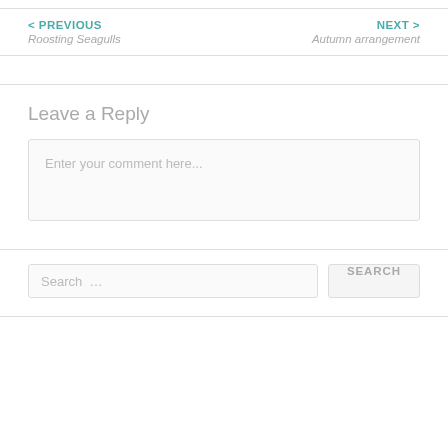< PREVIOUS
Roosting Seagulls
NEXT >
Autumn arrangement
Leave a Reply
Enter your comment here...
Search …
SEARCH